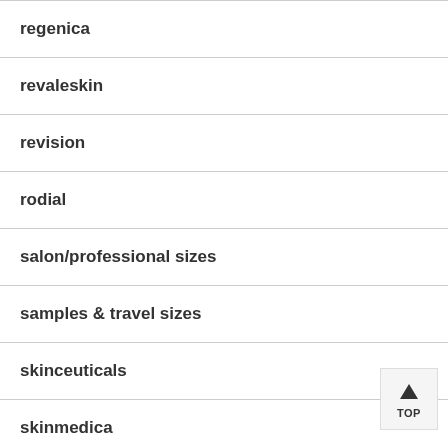regenica
revaleskin
revision
rodial
salon/professional sizes
samples & travel sizes
skinceuticals
skinmedica